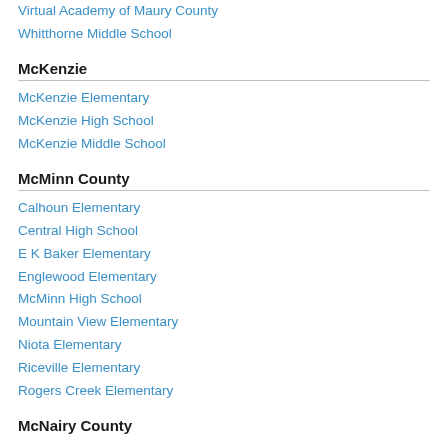Virtual Academy of Maury County
Whitthorne Middle School
McKenzie
McKenzie Elementary
McKenzie High School
McKenzie Middle School
McMinn County
Calhoun Elementary
Central High School
E K Baker Elementary
Englewood Elementary
McMinn High School
Mountain View Elementary
Niota Elementary
Riceville Elementary
Rogers Creek Elementary
McNairy County